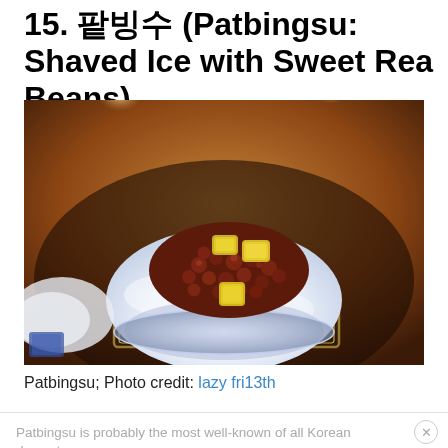15. 팥빙수 (Patbingsu: Shaved Ice with Sweet Rea Beans)
[Figure (photo): A glass bowl of Patbingsu (Korean shaved ice dessert) topped with sweet red beans and yellow rice cake pieces (tteok), served on a dark wooden tray in a warm-lit restaurant setting.]
Patbingsu; Photo credit: lazy fri13th
Patbingsu is probably the most well-known of all Korean desserts...